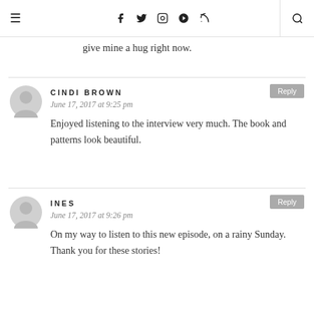≡ | f  t  ✷  ✦  )))  | 🔍
give mine a hug right now.
CINDI BROWN
June 17, 2017 at 9:25 pm
Enjoyed listening to the interview very much. The book and patterns look beautiful.
INES
June 17, 2017 at 9:26 pm
On my way to listen to this new episode, on a rainy Sunday. Thank you for these stories!